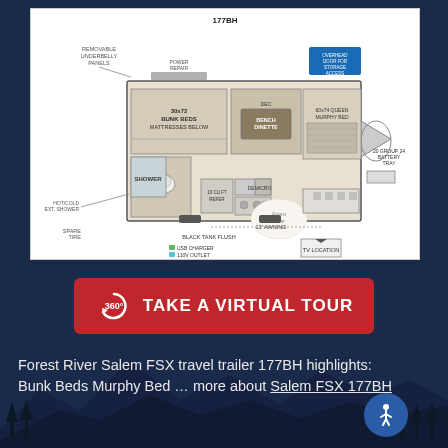[Figure (engineering-diagram): Floor plan diagram of Forest River Salem FSX 177BH travel trailer showing bunk beds, Murphy bed, bench dinette, shower, refrigerator, micro, TV location, and other features]
[Figure (infographic): Red button with 360-degree icon and text TAKE A VIRTUAL TOUR]
Forest River Salem FSX travel trailer 177BH highlights: Bunk Beds Murphy Bed … more about Salem FSX 177BH